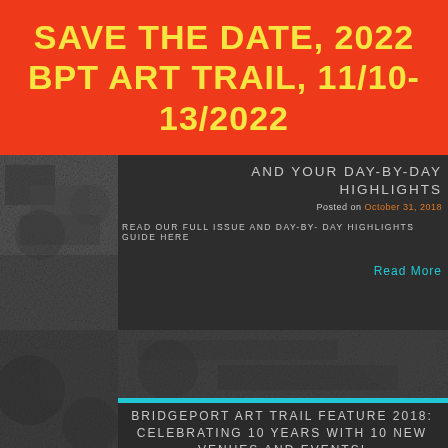SAVE THE DATE, 2022 BPT ART TRAIL, 11/10-13/2022
AND YOUR DAY-BY-DAY HIGHLIGHTS
Posted on October 31, 2018
READ OUR FULL ISSUE AND DAY-BY- DAY HIGHLIGHTS GUIDE HERE
Read More
[Figure (photo): Dark textured background image for article 1 thumbnail]
[Figure (photo): Large dark textured background image for article 2]
BRIDGEPORT ART TRAIL FEATURE 2018: CELEBRATING 10 YEARS WITH 10 NEW VENUES AND EVENTS!
Posted on October 16, 2018